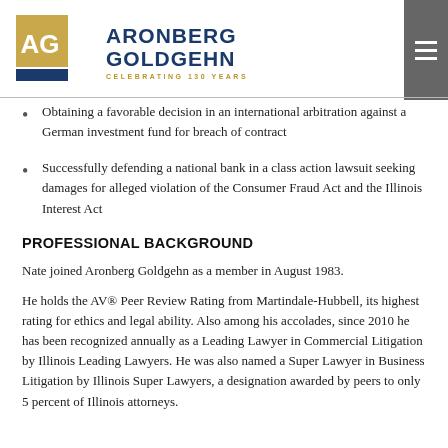[Figure (logo): Aronberg Goldgehn law firm logo with gold/tan square AG monogram, blue horizontal bar, and firm name in navy blue with gold 'CELEBRATING 130 YEARS' tagline]
Obtaining a favorable decision in an international arbitration against a German investment fund for breach of contract
Successfully defending a national bank in a class action lawsuit seeking damages for alleged violation of the Consumer Fraud Act and the Illinois Interest Act
PROFESSIONAL BACKGROUND
Nate joined Aronberg Goldgehn as a member in August 1983.
He holds the AV® Peer Review Rating from Martindale-Hubbell, its highest rating for ethics and legal ability. Also among his accolades, since 2010 he has been recognized annually as a Leading Lawyer in Commercial Litigation by Illinois Leading Lawyers. He was also named a Super Lawyer in Business Litigation by Illinois Super Lawyers, a designation awarded by peers to only 5 percent of Illinois attorneys.